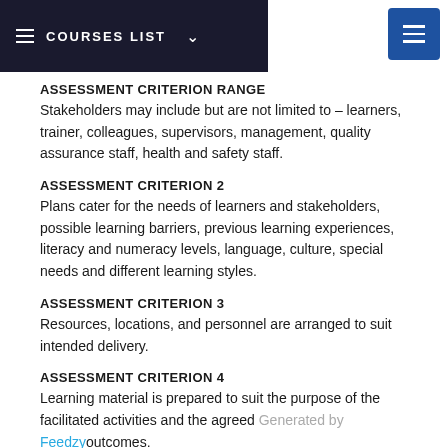COURSES LIST
ASSESSMENT CRITERION RANGE
Stakeholders may include but are not limited to – learners, trainer, colleagues, supervisors, management, quality assurance staff, health and safety staff.
ASSESSMENT CRITERION 2
Plans cater for the needs of learners and stakeholders, possible learning barriers, previous learning experiences, literacy and numeracy levels, language, culture, special needs and different learning styles.
ASSESSMENT CRITERION 3
Resources, locations, and personnel are arranged to suit intended delivery.
ASSESSMENT CRITERION 4
Learning material is prepared to suit the purpose of the facilitated activities and the agreed outcomes.